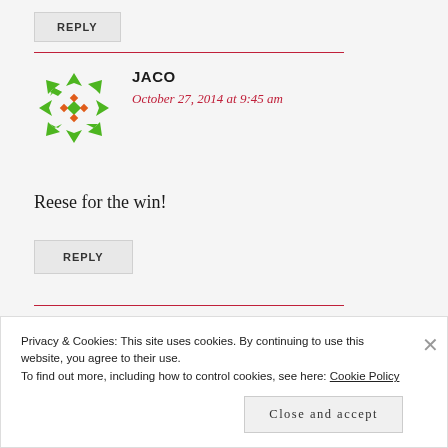REPLY
JACO
October 27, 2014 at 9:45 am
Reese for the win!
REPLY
Privacy & Cookies: This site uses cookies. By continuing to use this website, you agree to their use. To find out more, including how to control cookies, see here: Cookie Policy
Close and accept